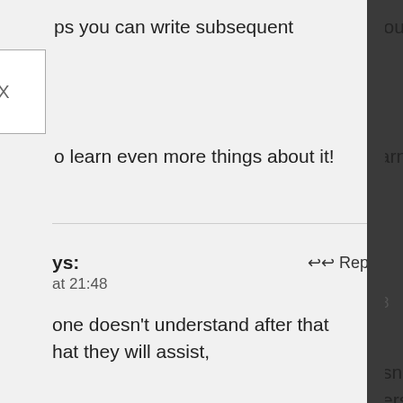ps you can write subsequent
[Figure (other): Broken image placeholder box with X]
o learn even more things about it!
ys: at 21:48 — Reply
one doesn't understand after that hat they will assist,
ys: at 22:08 — Reply
ob!